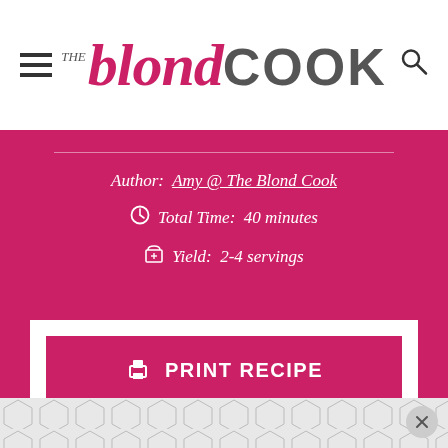THE blond COOK
Author: Amy @ The Blond Cook
Total Time: 40 minutes
Yield: 2-4 servings
PRINT RECIPE
PIN RECIPE